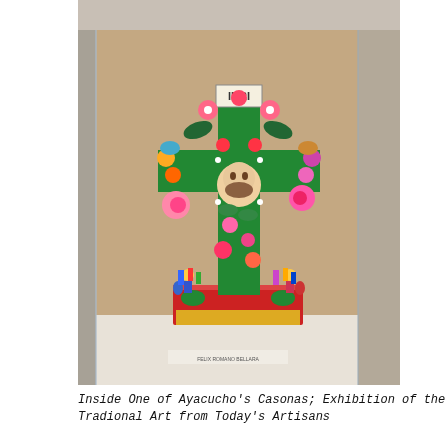[Figure (photo): A colorful ornate Peruvian cross sculpture (Cruz de Ayacucho) displayed in a glass case inside a casona. The cross is decorated with bright flowers, figurines, and has 'INRI' written at the top. It stands on a painted wooden base with small figures.]
Inside One of Ayacucho's Casonas; Exhibition of the Tradional Art from Today's Artisans
We started the city tour by admiring some of the colonial casonas (big houses) which have been